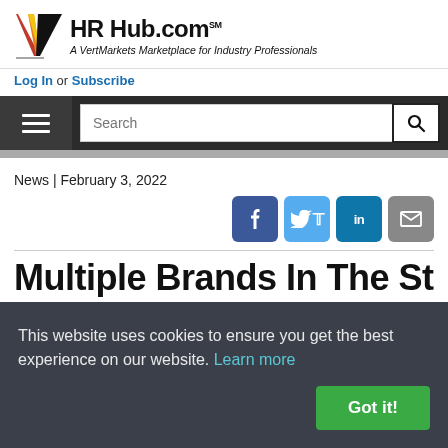[Figure (logo): HR Hub.com logo with red/orange/yellow V-shaped icon and text 'HR Hub.com SM - A VertMarkets Marketplace for Industry Professionals']
Log In or Subscribe
[Figure (screenshot): Navigation bar with hamburger menu icon and search box]
News | February 3, 2022
[Figure (infographic): Social share buttons: Facebook, Twitter, LinkedIn, Email]
Multiple Brands In The Staffing
This website uses cookies to ensure you get the best experience on our website. Learn more
Got it!